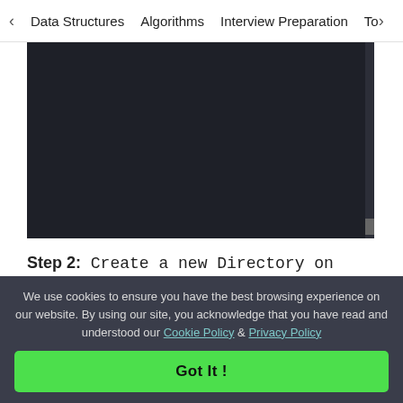< Data Structures   Algorithms   Interview Preparation   To>
[Figure (screenshot): Dark panel showing a terminal or code editor screenshot with dark background (#1e2028)]
Step 2: Create a new Directory on Desktop named Slowloris using the following command.
mkdir Slowloris
We use cookies to ensure you have the best browsing experience on our website. By using our site, you acknowledge that you have read and understood our Cookie Policy & Privacy Policy
Got It !